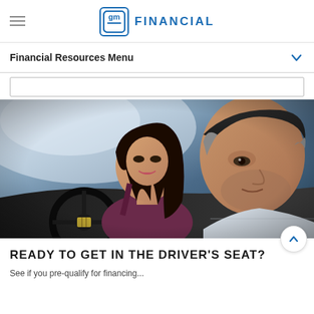GM Financial
Financial Resources Menu
[Figure (photo): Two people inside a car — a man in the foreground gripping a steering wheel with a Cadillac emblem, and a woman smiling in the background seat. The scene appears to be at a car dealership or during a test drive.]
READY TO GET IN THE DRIVER'S SEAT?
See if you pre-qualify for financing...